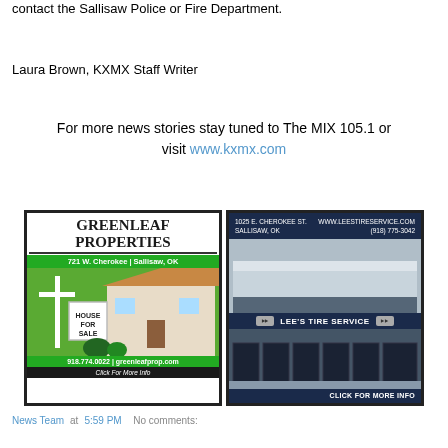contact the Sallisaw Police or Fire Department.
Laura Brown, KXMX Staff Writer
For more news stories stay tuned to The MIX 105.1 or visit www.kxmx.com
[Figure (illustration): Greenleaf Properties real estate advertisement showing a house for sale sign and property]
[Figure (illustration): Lee's Tire Service advertisement showing building exterior at 1025 E. Cherokee St., Sallisaw OK]
News Team at 5:59 PM  No comments: